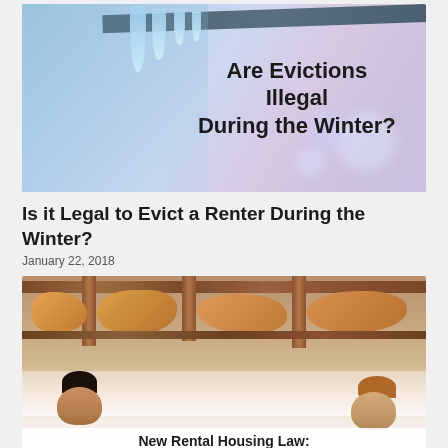[Figure (photo): Winter scene with icicles on a branch against a blue bokeh background, with bold text overlay reading 'Are Evictions Illegal During the Winter?']
Is it Legal to Evict a Renter During the Winter?
January 22, 2018
[Figure (photo): Two people (man and woman) looking up at a damaged ceiling with exposed insulation and wooden beams. Caption reads 'New Rental Housing Law:']